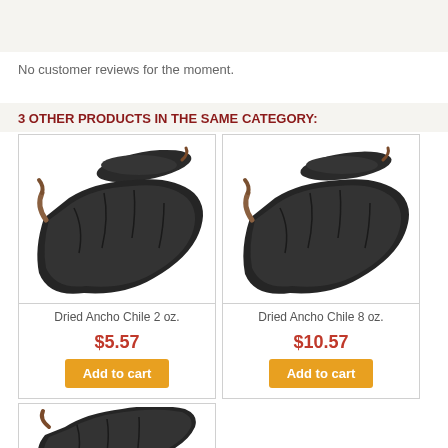No customer reviews for the moment.
3 OTHER PRODUCTS IN THE SAME CATEGORY:
[Figure (photo): Dried Ancho Chile peppers - two dark dried chili peppers on white background]
Dried Ancho Chile 2 oz.
$5.57
Add to cart
[Figure (photo): Dried Ancho Chile peppers - two dark dried chili peppers on white background]
Dried Ancho Chile 8 oz.
$10.57
Add to cart
[Figure (photo): Dried Ancho Chile pepper - partial view of dark dried chili pepper]